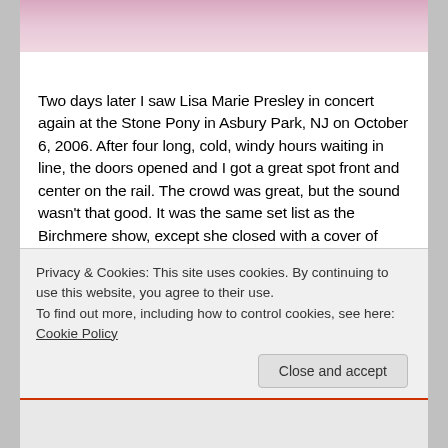[Figure (photo): Partial image visible at top of page with pink/purple gradient colors, cropped]
Two days later I saw Lisa Marie Presley in concert again at the Stone Pony in Asbury Park, NJ on October 6, 2006. After four long, cold, windy hours waiting in line, the doors opened and I got a great spot front and center on the rail. The crowd was great, but the sound wasn't that good. It was the same set list as the Birchmere show, except she closed with a cover of
Privacy & Cookies: This site uses cookies. By continuing to use this website, you agree to their use.
To find out more, including how to control cookies, see here: Cookie Policy
Close and accept